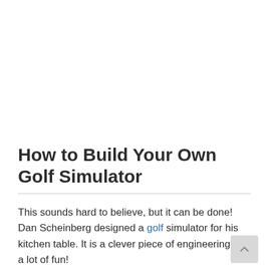How to Build Your Own Golf Simulator
This sounds hard to believe, but it can be done! Dan Scheinberg designed a golf simulator for his kitchen table. It is a clever piece of engineering and a lot of fun!